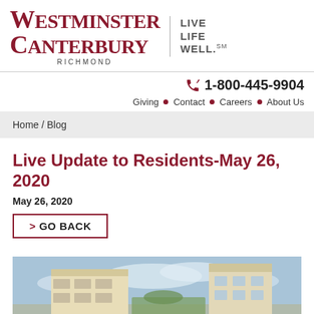[Figure (logo): Westminster Canterbury Richmond logo with tagline 'Live Life Well.' and a vertical divider]
1-800-445-9904
Giving · Contact · Careers · About Us
Home / Blog
Live Update to Residents-May 26, 2020
May 26, 2020
> GO BACK
[Figure (photo): Exterior photo of Westminster Canterbury Richmond buildings with blue sky]